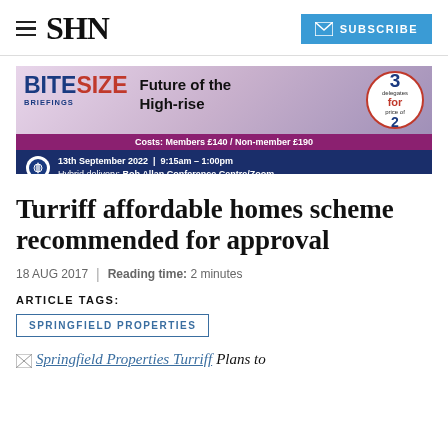SHN | SUBSCRIBE
[Figure (infographic): BITESIZE BRIEFINGS advertisement banner. Future of the High-rise event. 3 delegates for price of 2. Costs: Members £140 / Non-member £190. 13th September 2022 | 9:15am – 1:00pm. Hybrid delivery: Bob Allan Conference Centre/Zoom.]
Turriff affordable homes scheme recommended for approval
18 AUG 2017 | Reading time: 2 minutes
ARTICLE TAGS:
SPRINGFIELD PROPERTIES
Springfield Properties Turriff Plans to